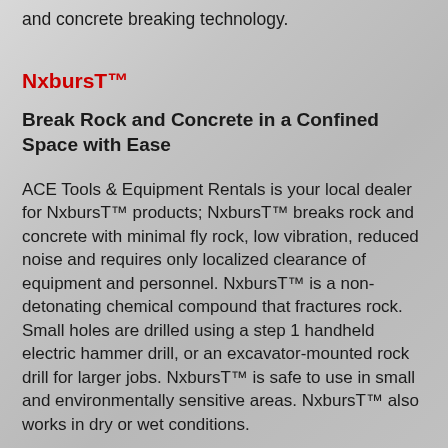and concrete breaking technology.
NxbursT™
Break Rock and Concrete in a Confined Space with Ease
ACE Tools & Equipment Rentals is your local dealer for NxbursT™ products; NxbursT™ breaks rock and concrete with minimal fly rock, low vibration, reduced noise and requires only localized clearance of equipment and personnel. NxbursT™ is a non-detonating chemical compound that fractures rock. Small holes are drilled using a step 1 handheld electric hammer drill, or an excavator-mounted rock drill for larger jobs. NxbursT™ is safe to use in small and environmentally sensitive areas. NxbursT™ also works in dry or wet conditions.